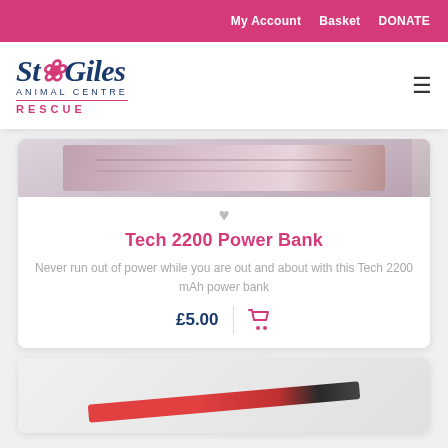My Account   Basket   DONATE
[Figure (logo): St Giles Animal Centre Rescue logo with paw print icon]
[Figure (photo): Top portion of Tech 2200 Power Bank product image showing a pink/maroon power bank in packaging]
♥
Tech 2200 Power Bank
Never run out of power while you are out and about with this Tech 2200 mAh power bank
£5.00
[Figure (photo): Partial view of second product image showing red/orange item against grey background]